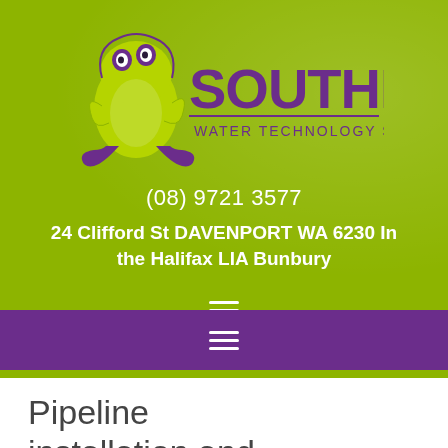[Figure (logo): Southern's Water Technology Since 1972 logo with purple frog and green/purple text on lime green background]
(08) 9721 3577
24 Clifford St DAVENPORT WA 6230  In the Halifax LIA Bunbury
[Figure (other): Hamburger menu icon (three horizontal lines) on lime green background]
[Figure (other): Hamburger menu icon (three horizontal lines) on purple background bar]
Pipeline installation and